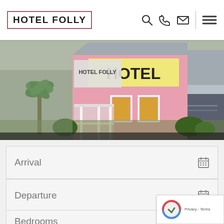HOTEL FOLLY
[Figure (photo): Exterior photo of Hotel Folly, a pink two-story building with a large sign reading HOTEL on the facade, palm trees visible to the left, grey metal roof, and adjacent buildings.]
Arrival
Departure
Bedrooms